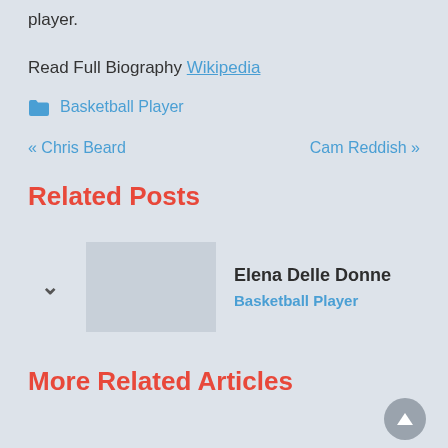player.
Read Full Biography Wikipedia
🗂 Basketball Player
« Chris Beard    Cam Reddish »
Related Posts
Elena Delle Donne
Basketball Player
More Related Articles